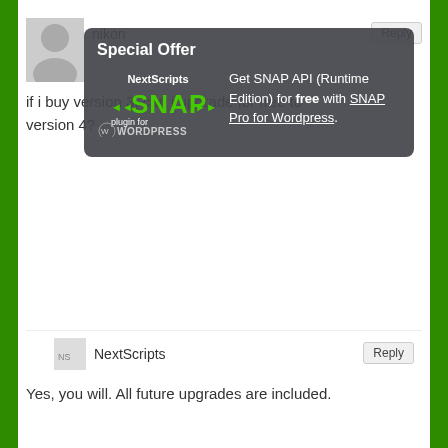[Figure (screenshot): Screenshot of a WordPress plugin comment section showing user comments from 'nikon', 'Henryk Ibe-Meinhardt', and replies from 'NextScripts', with a 'Special Offer' overlay popup advertising SNAP API (Runtime Edition) free with SNAP Pro for Wordpress. The overlay includes a NextScripts SNAP plugin for WordPress logo.]
if i buy version 3, can i upgrade for free to version 4?
Special Offer
Get SNAP API (Runtime Edition) for free with SNAP Pro for Wordpress.
Yes, you will. All future upgrades are included.
Hi, I would like to be a beta tester of version 4.0. I have bought already the version 3.4.12 and would like to start with the beta.
We will announce the public beta on our